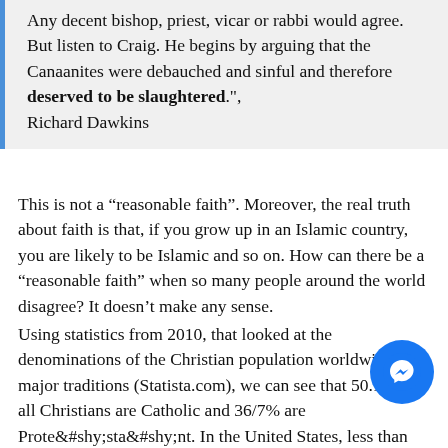Any decent bishop, priest, vicar or rabbi would agree. But listen to Craig. He begins by arguing that the Canaanites were debauched and sinful and therefore deserved to be slaughtered.", Richard Dawkins
This is not a “reasonable faith”. Moreover, the real truth about faith is that, if you grow up in an Islamic country, you are likely to be Islamic and so on. How can there be a “reasonable faith” when so many people around the world disagree? It doesn’t make any sense.
Using statistics from 2010, that looked at the denominations of the Christian population worldwide by major traditions (Statista.com), we can see that 50.1% of all Christians are Catholic and 36/7% are Protestant. In the United States, less than 1% were Wesleyans. How is that representative or reasonable? It looks to me like WC
[Figure (other): Facebook Messenger chat button overlay in bottom-right area]